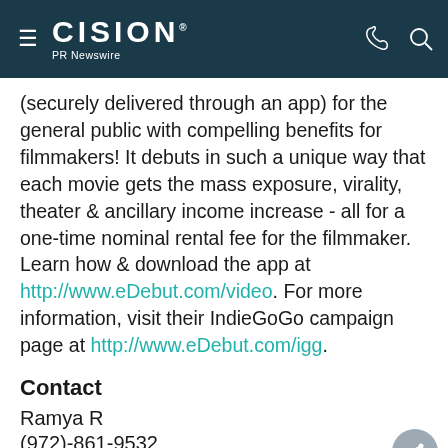CISION PR Newswire
(securely delivered through an app) for the general public with compelling benefits for filmmakers! It debuts in such a unique way that each movie gets the mass exposure, virality, theater & ancillary income increase - all for a one-time nominal rental fee for the filmmaker. Learn how & download the app at http://www.eDebut.com/video. For more information, visit their IndieGoGo campaign page at http://www.eDebut.com/igg.
Contact
Ramya R
(972)-861-9532